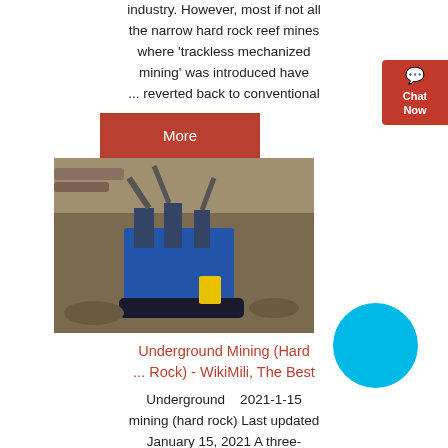industry. However, most if not all the narrow hard rock reef mines where 'trackless mechanized mining' was introduced have ... reverted back to conventional
[Figure (other): Red 'More' button]
[Figure (photo): Photograph of underground mining equipment, showing heavy machinery in a mine setting with rock walls]
Underground Mining (Hard ... Rock) - WikiMili, The Best
Underground    2021-1-15 mining (hard rock) Last updated January 15, 2021 A three-dimensional model of a modern underground mine with shaft